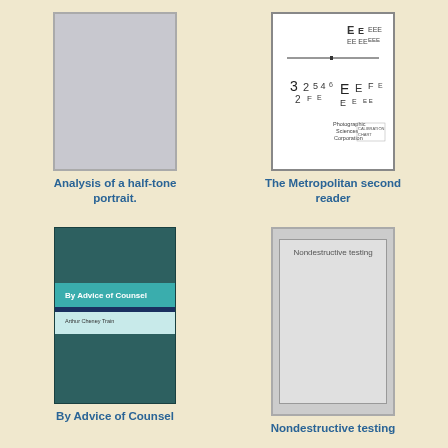[Figure (photo): Book cover thumbnail - blank gray cover representing 'Analysis of a half-tone portrait']
Analysis of a half-tone portrait.
[Figure (photo): Book cover thumbnail - white page with text/letter chart marks representing 'The Metropolitan second reader']
The Metropolitan second reader
[Figure (photo): Book cover thumbnail - teal/dark teal book cover with title 'By Advice of Counsel' and author 'Arthur Cheney Train']
By Advice of Counsel
[Figure (photo): Book cover thumbnail - gray cover with text 'Nondestructive testing']
Nondestructive testing